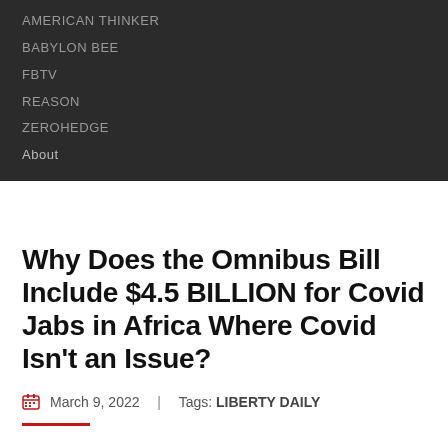AMERICAN THINKER
BABYLON BEE
FBTV
REASON
ZEROHEDGE
About
Why Does the Omnibus Bill Include $4.5 BILLION for Covid Jabs in Africa Where Covid Isn't an Issue?
March 9, 2022  |  Tags: LIBERTY DAILY